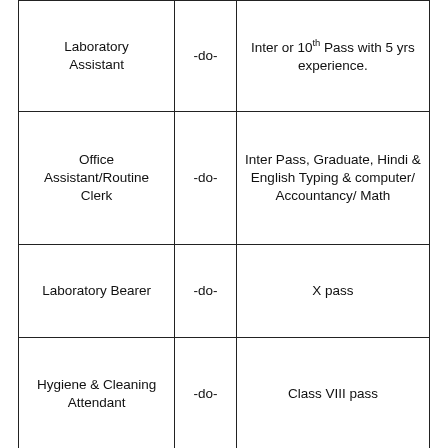| Laboratory Assistant | -do- | Inter or 10th Pass with 5 yrs experience. |
| Office Assistant/Routine Clerk | -do- | Inter Pass, Graduate, Hindi & English Typing & computer/ Accountancy/ Math |
| Laboratory Bearer | -do- | X pass |
| Hygiene & Cleaning Attendant | -do- | Class VIII pass |
| *Detailed information can be seen from here |  |  |